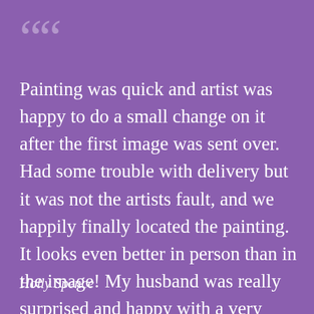““
Painting was quick and artist was happy to do a small change on it after the first image was sent over. Had some trouble with delivery but it was not the artists fault, and we happily finally located the painting. It looks even better in person than in the image! My husband was really surprised and happy with a very unique gift. Thanks for your hard work on this!
Holly Spence